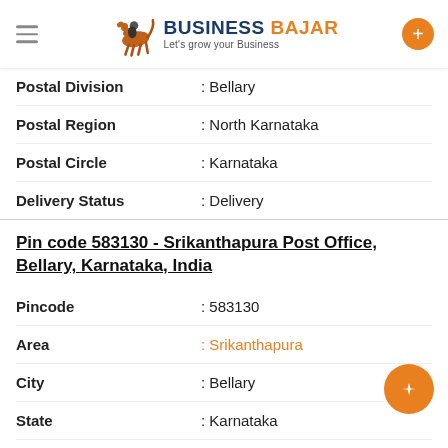Business Bajar - Let's grow your Business
Postal Division : Bellary
Postal Region : North Karnataka
Postal Circle : Karnataka
Delivery Status : Delivery
Pin code 583130 - Srikanthapura Post Office, Bellary, Karnataka, India
Pincode : 583130
Area : Srikanthapura
City : Bellary
State : Karnataka
Country : India
District : Bellary
Postal Taluk : Kudligi